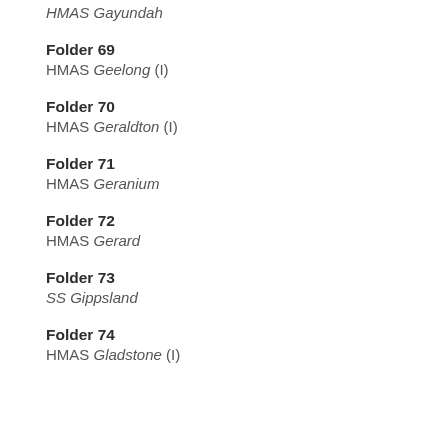HMAS Gayundah
Folder 69
HMAS Geelong (I)
Folder 70
HMAS Geraldton (I)
Folder 71
HMAS Geranium
Folder 72
HMAS Gerard
Folder 73
SS Gippsland
Folder 74
HMAS Gladstone (I)